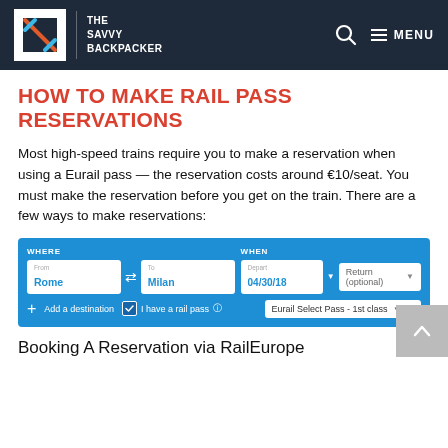THE SAVVY BACKPACKER
HOW TO MAKE RAIL PASS RESERVATIONS
Most high-speed trains require you to make a reservation when using a Eurail pass — the reservation costs around €10/seat. You must make the reservation before you get on the train. There are a few ways to make reservations:
[Figure (screenshot): RailEurope booking widget screenshot showing WHERE section with From: Rome and To: Milan, and WHEN section with Depart: 04/30/18, Return (optional), plus 'Add a destination', 'I have a rail pass' checkbox, and Eurail Select Pass - 1st class dropdown]
Booking A Reservation via RailEurope